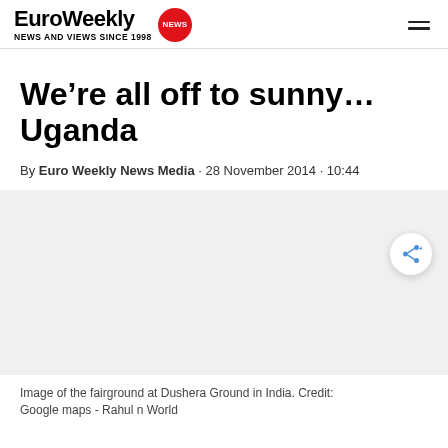Euro Weekly NEWS AND VIEWS SINCE 1998
We’re all off to sunny… Uganda
By Euro Weekly News Media · 28 November 2014 · 10:44
[Figure (photo): Image of the fairground at Dushera Ground in India]
Image of the fairground at Dushera Ground in India. Credit: Google maps - Rahul n World